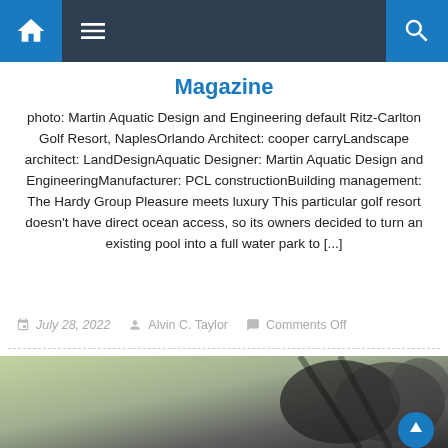Navigation bar with home, menu, and search icons
Magazine
photo: Martin Aquatic Design and Engineering default Ritz-Carlton Golf Resort, NaplesOrlando Architect: cooper carryLandscape architect: LandDesignAquatic Designer: Martin Aquatic Design and EngineeringManufacturer: PCL constructionBuilding management: The Hardy Group Pleasure meets luxury This particular golf resort doesn't have direct ocean access, so its owners decided to turn an existing pool into a full water park to [...]
July 28, 2022   Alvin C. Taylor   Comments Off
[Figure (photo): Partial photo of golf equipment/clubs at bottom of page]